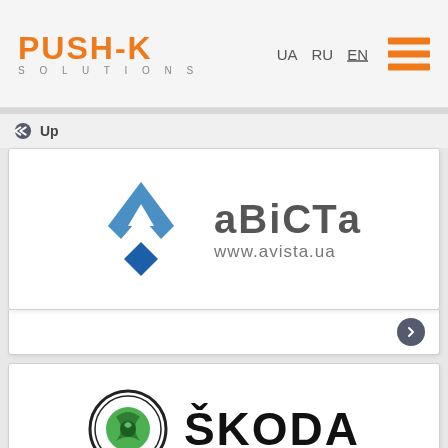PUSH-K SOLUTIONS | UA RU EN
Up
[Figure (logo): Avista logo with geometric diamond arrow shapes in blue and light blue, Cyrillic text 'аВіСТа' and URL www.avista.ua]
[Figure (logo): Skoda logo with circular green winged arrow emblem and bold text 'SKODA']